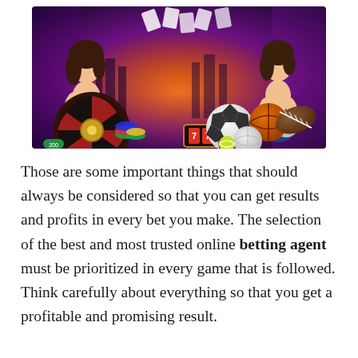[Figure (photo): Online casino and sports betting promotional banner image showing two women, a roulette wheel with casino chips, slot machine symbols, and various sports balls (soccer, basketball, football, volleyball) against a colorful purple-orange-red background.]
Those are some important things that should always be considered so that you can get results and profits in every bet you make. The selection of the best and most trusted online betting agent must be prioritized in every game that is followed. Think carefully about everything so that you get a profitable and promising result.